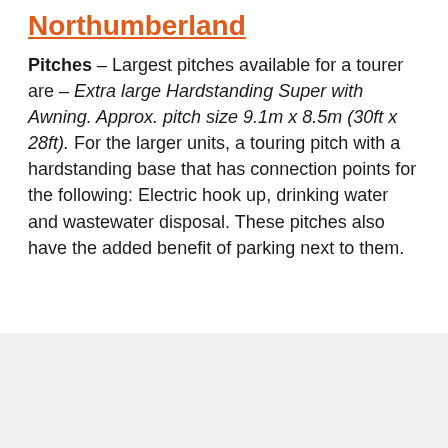Northumberland
Pitches – Largest pitches available for a tourer are – Extra large Hardstanding Super with Awning. Approx. pitch size 9.1m x 8.5m (30ft x 28ft). For the larger units, a touring pitch with a hardstanding base that has connection points for the following: Electric hook up, drinking water and wastewater disposal. These pitches also have the added benefit of parking next to them.